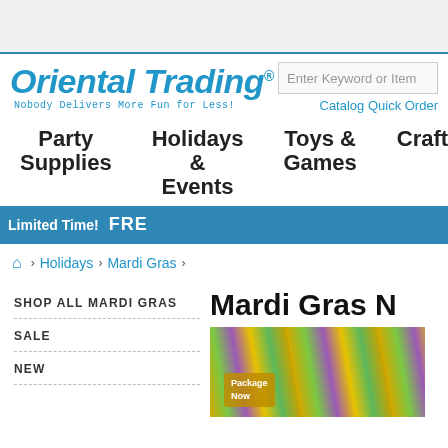[Figure (logo): Oriental Trading logo with tagline 'Nobody Delivers More Fun for Less!']
Enter Keyword or Item
Catalog Quick Order
Party Supplies
Holidays & Events
Toys & Games
Crafts
Limited Time!  FRE
🏠 › Holidays › Mardi Gras ›
SHOP ALL MARDI GRAS
SALE
NEW
Mardi Gras
[Figure (photo): Colorful Mardi Gras beads in purple, green, and gold colors with text overlay 'Package Now']